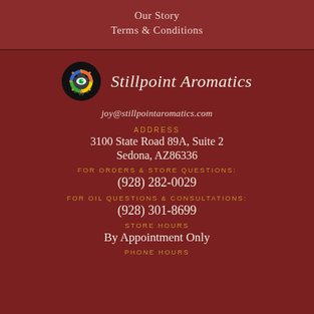Our Story
Terms & Conditions
[Figure (logo): Stillpoint Aromatics logo: circular black background with colorful gear/eye icon, beside italic script text 'Stillpoint Aromatics']
joy@stillpointaromatics.com
ADDRESS
3100 State Road 89A, Suite 2
Sedona, AZ86336
FOR ORDERS & STORE QUESTIONS:
(928) 282-0029
FOR OIL QUESTIONS & CONSULTATIONS:
(928) 301-8699
STORE HOURS
By Appointment Only
PHONE HOURS